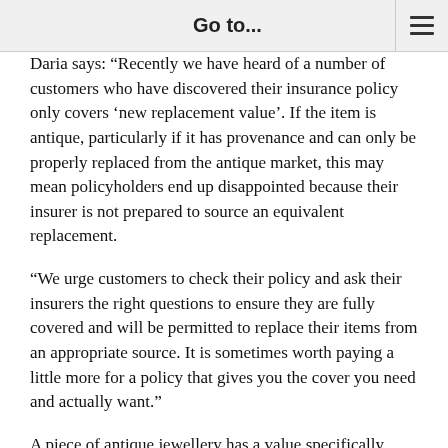Go to...
Daria says: "Recently we have heard of a number of customers who have discovered their insurance policy only covers 'new replacement value'. If the item is antique, particularly if it has provenance and can only be properly replaced from the antique market, this may mean policyholders end up disappointed because their insurer is not prepared to source an equivalent replacement.
“We urge customers to check their policy and ask their insurers the right questions to ensure they are fully covered and will be permitted to replace their items from an appropriate source. It is sometimes worth paying a little more for a policy that gives you the cover you need and actually want.”
A piece of antique jewellery has a value specifically because it is antique as an entity; has provenance; is fashioned in a particular way; and is set with stones cut in a way that may no longer be in use. According to guidelines established by th